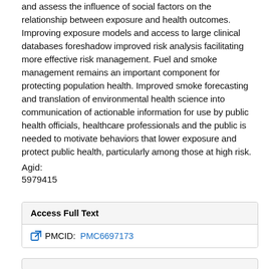and assess the influence of social factors on the relationship between exposure and health outcomes. Improving exposure models and access to large clinical databases foreshadow improved risk analysis facilitating more effective risk management. Fuel and smoke management remains an important component for protecting population health. Improved smoke forecasting and translation of environmental health science into communication of actionable information for use by public health officials, healthcare professionals and the public is needed to motivate behaviors that lower exposure and protect public health, particularly among those at high risk.
Agid:
5979415
| Access Full Text |
| --- |
| PMCID: | PMC6697173 |